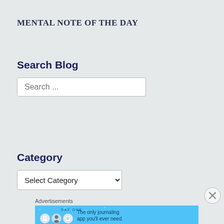MENTAL NOTE OF THE DAY
Search Blog
Search ...
Category
Select Category
Advertisements
[Figure (illustration): Day One journaling app advertisement banner with app icon characters and text 'The only journaling app you'll ever need.']